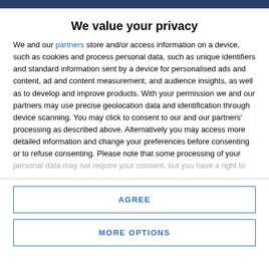We value your privacy
We and our partners store and/or access information on a device, such as cookies and process personal data, such as unique identifiers and standard information sent by a device for personalised ads and content, ad and content measurement, and audience insights, as well as to develop and improve products. With your permission we and our partners may use precise geolocation data and identification through device scanning. You may click to consent to our and our partners' processing as described above. Alternatively you may access more detailed information and change your preferences before consenting or to refuse consenting. Please note that some processing of your personal data may not require your consent, but you have a right to
AGREE
MORE OPTIONS
Bielefeld were on their way to a fourth consecutive defeat,